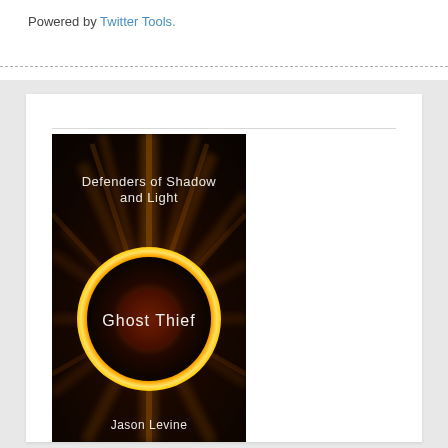Powered by Twitter Tools.
[Figure (illustration): Book cover for 'Ghost Thief' from the 'Defenders of Shadow and Light' series by Jason Levine. Dark background with radiating light rays and a glowing golden solar eclipse/dark circle with bright rim. Title text 'Defenders of Shadow and Light' at top, 'Ghost Thief' in center, 'Jason Levine' at bottom.]